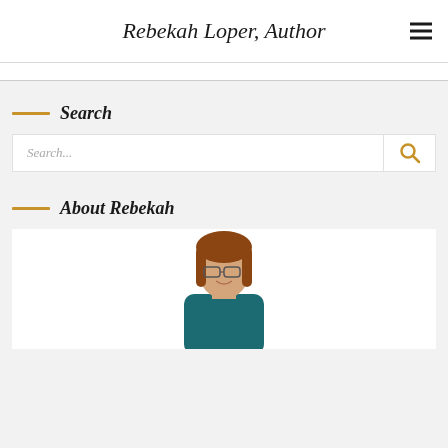Rebekah Loper, Author
Search
[Figure (other): Search input box with placeholder text 'Search...' and a gold magnifying glass search button]
About Rebekah
[Figure (photo): Photo of Rebekah Loper, a woman with long brown hair and glasses, wearing a teal top, smiling]